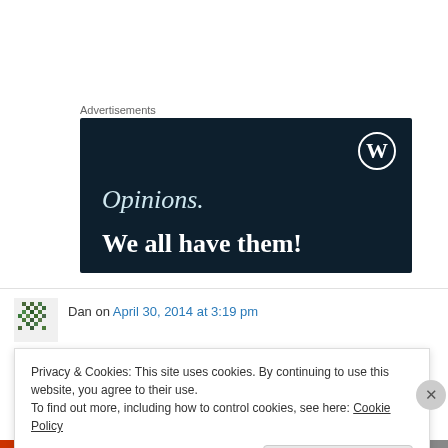Advertisements
[Figure (illustration): WordPress advertisement banner with dark navy background, WordPress logo (W in circle) top right, italic text 'Opinions.' and bold text 'We all have them!']
Dan on April 30, 2014 at 3:19 pm
Privacy & Cookies: This site uses cookies. By continuing to use this website, you agree to their use.
To find out more, including how to control cookies, see here: Cookie Policy
Close and accept